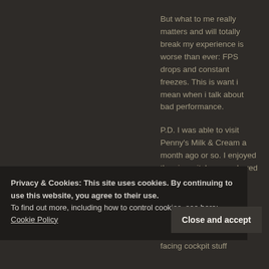But what to me really matters and will totally break my experience is worse than ever: FPS drops and constant freezes. This is want i mean when i talk about bad performance.
P.D. I was able to visit Penny's Milk & Cream a month ago or so. I enjoyed the sim, witch remembered me a lot
Privacy & Cookies: This site uses cookies. By continuing to use this website, you agree to their use.
To find out more, including how to control cookies, see here: Cookie Policy
Close and accept
facing cockpit stuff